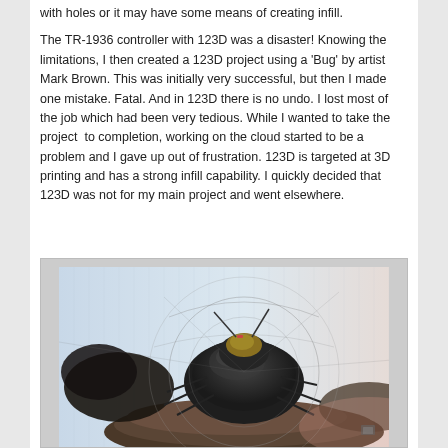with holes or it may have some means of creating infill.

The TR-1936 controller with 123D was a disaster! Knowing the limitations, I then created a 123D project using a 'Bug' by artist Mark Brown. This was initially very successful, but then I made one mistake. Fatal. And in 123D there is no undo. I lost most of the job which had been very tedious. While I wanted to take the project to completion, working on the cloud started to be a problem and I gave up out of frustration. 123D is targeted at 3D printing and has a strong infill capability. I quickly decided that 123D was not for my main project and went elsewhere.
[Figure (photo): A 3D model of a bug (insect) rendered in 123D software, showing a dark beetle-like creature on a rocky surface with circular guide lines and a light blue/grey background. The model appears to be in a 3D modeling environment with wireframe overlay guides.]